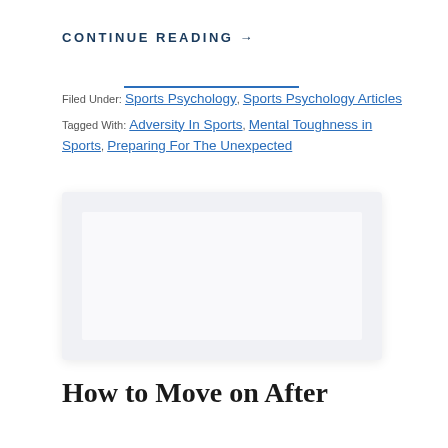CONTINUE READING →
Filed Under: Sports Psychology, Sports Psychology Articles
Tagged With: Adversity In Sports, Mental Toughness in Sports, Preparing For The Unexpected
[Figure (photo): Placeholder image card with light gray background]
How to Move on After